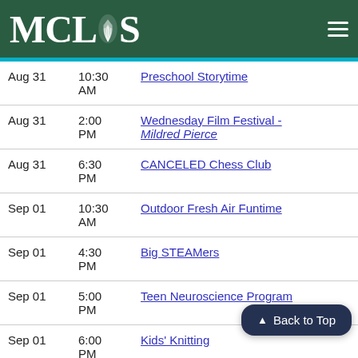MCLS
| Date | Time | Event |
| --- | --- | --- |
| Aug 31 | 10:30 AM | Preschool Storytime |
| Aug 31 | 2:00 PM | Wednesday Film Festival - Mildred Pierce |
| Aug 31 | 6:30 PM | CANCELED Chess Club |
| Sep 01 | 10:30 AM | Outdoor Fresh Air Funtime |
| Sep 01 | 4:30 PM | Big STEAMers |
| Sep 01 | 5:00 PM | Teen Neuroscience Program |
| Sep 01 | 6:00 PM | Kids' Knitting |
| Sep 02 | 10:30 AM | Children's Sing-A-... / Pat McKinley |